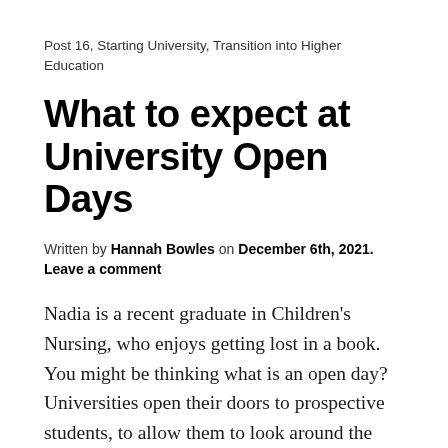Post 16, Starting University, Transition into Higher Education
What to expect at University Open Days
Written by Hannah Bowles on December 6th, 2021. Leave a comment
Nadia is a recent graduate in Children's Nursing, who enjoys getting lost in a book. You might be thinking what is an open day? Universities open their doors to prospective students, to allow them to look around the university, learning facilities, and social spaces. You get to speak to various lecturers